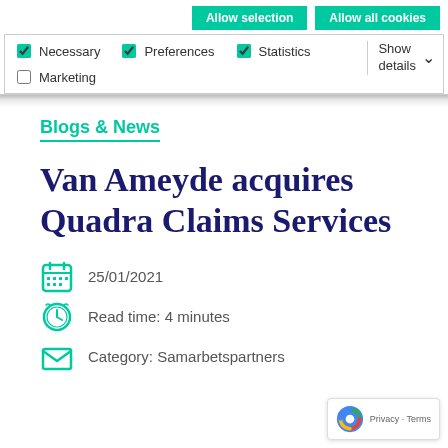[Figure (screenshot): Cookie consent banner with Allow selection and Allow all cookies buttons, checkboxes for Necessary, Preferences, Statistics, Marketing, and Show details dropdown]
Blogs & News
Van Ameyde acquires Quadra Claims Services
25/01/2021
Read time: 4 minutes
Category: Samarbetspartners